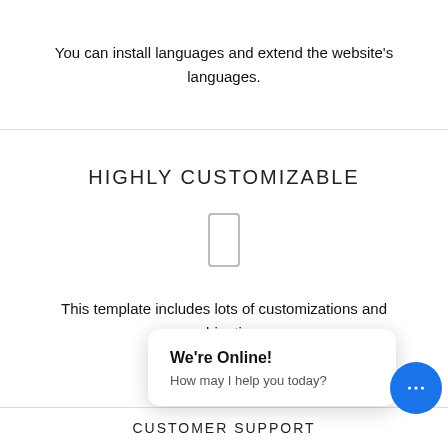You can install languages and extend the website's languages.
HIGHLY CUSTOMIZABLE
[Figure (illustration): Small rectangular icon placeholder with rounded corners and light border]
This template includes lots of customizations and combinations.
We're Online! How may I help you today?
CUSTOMER SUPPORT